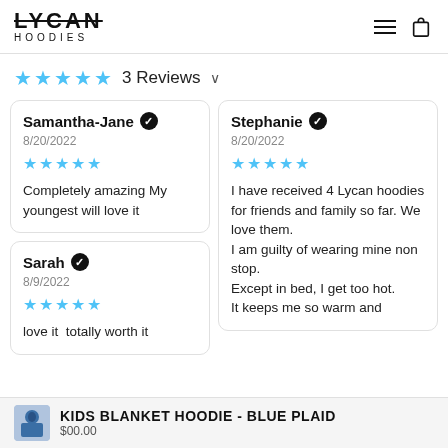LYCAN HOODIES
3 Reviews
Samantha-Jane ✓
8/20/2022
★★★★★
Completely amazing My youngest will love it
Stephanie ✓
8/20/2022
★★★★★
I have received 4 Lycan hoodies for friends and family so far. We love them. I am guilty of wearing mine non stop. Except in bed, I get too hot. It keeps me so warm and
Sarah ✓
8/9/2022
★★★★★
love it  totally worth it
KIDS BLANKET HOODIE - BLUE PLAID
$00.00